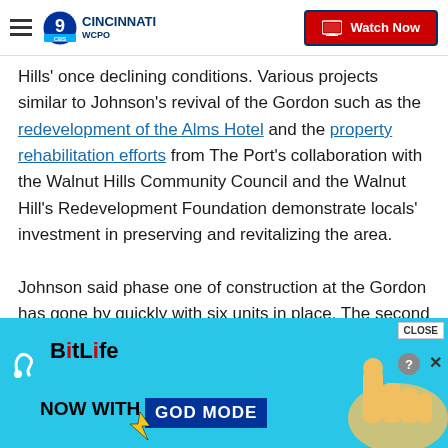WCPO 9 Cincinnati — Watch Now
Hills' once declining conditions. Various projects similar to Johnson's revival of the Gordon such as the redevelopment of the Alms Hotel and the property rehabilitation efforts from The Port's collaboration with the Walnut Hills Community Council and the Walnut Hill's Redevelopment Foundation demonstrate locals' investment in preserving and revitalizing the area.

Johnson said phase one of construction at the Gordon has gone by quickly with six units in place. The second phase of the project will start in the early fall and
[Figure (screenshot): BitLife advertisement banner with 'NOW WITH GOD MODE' text and hand pointer graphic on cyan background]